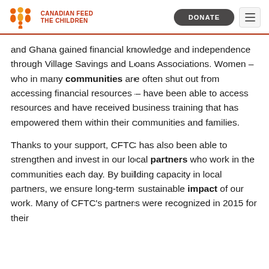CANADIAN FEED THE CHILDREN
and Ghana gained financial knowledge and independence through Village Savings and Loans Associations. Women – who in many communities are often shut out from accessing financial resources – have been able to access resources and have received business training that has empowered them within their communities and families.
Thanks to your support, CFTC has also been able to strengthen and invest in our local partners who work in the communities each day. By building capacity in local partners, we ensure long-term sustainable impact of our work. Many of CFTC's partners were recognized in 2015 for their